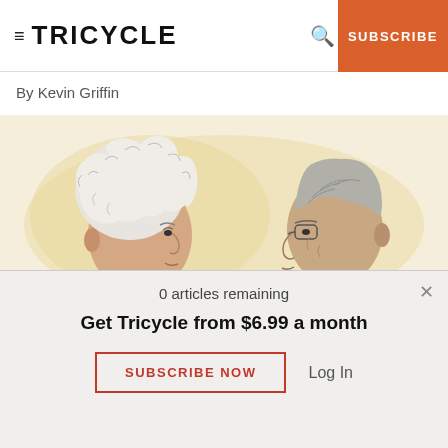TRICYCLE | SUBSCRIBE
By Kevin Griffin
[Figure (illustration): Pen-and-ink watercolor illustration of two men facing each other in profile: left figure has curly white hair and an open-collar shirt; right figure has slicked-back gray hair, glasses, and a jacket. Warm yellow-beige wash background.]
0 articles remaining
Get Tricycle from $6.99 a month
SUBSCRIBE NOW
Log In